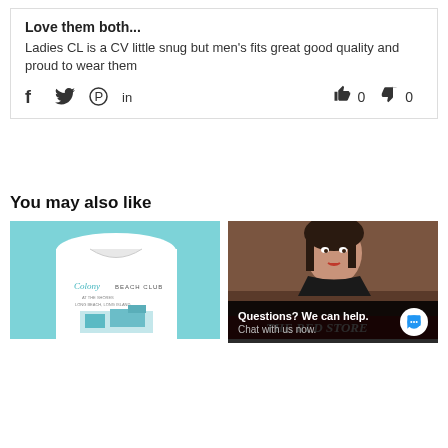Love them both...
Ladies CL is a CV little snug but men's fits great good quality and proud to wear them
[Figure (other): Social share icons (Facebook, Twitter, Pinterest, LinkedIn) and thumbs up/down vote counters showing 0 each]
You may also like
[Figure (photo): Product photo of a white t-shirt with Colony Beach Club graphic on a light blue background]
[Figure (photo): Photo of a woman with dark hair wearing a black jacket, with The Red Store text visible at bottom, and a chat help overlay: Questions? We can help. Chat with us now.]